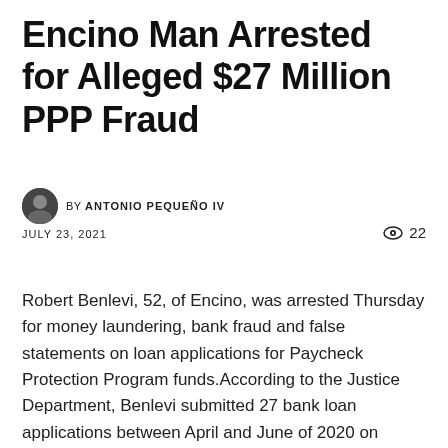Encino Man Arrested for Alleged $27 Million PPP Fraud
BY ANTONIO PEQUEÑO IV
JULY 23, 2021
22
Robert Benlevi, 52, of Encino, was arrested Thursday for money laundering, bank fraud and false statements on loan applications for Paycheck Protection Program funds.According to the Justice Department, Benlevi submitted 27 bank loan applications between April and June of 2020 on behalf of eight companies he solely owned.Allegedly, he sought $27 million in forgivable PPP